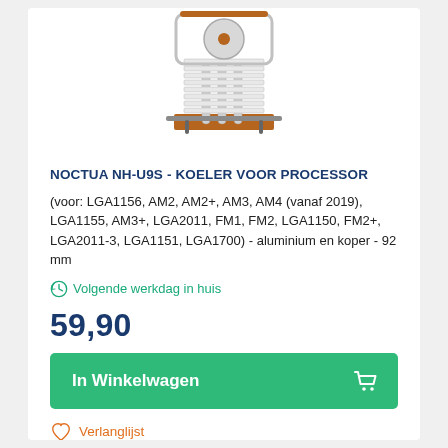[Figure (photo): Noctua NH-U9S CPU cooler product photo showing silver heat pipes, aluminum fins, and brown copper base]
NOCTUA NH-U9S - KOELER VOOR PROCESSOR
(voor: LGA1156, AM2, AM2+, AM3, AM4 (vanaf 2019), LGA1155, AM3+, LGA2011, FM1, FM2, LGA1150, FM2+, LGA2011-3, LGA1151, LGA1700) - aluminium en koper - 92 mm
Volgende werkdag in huis
59,90
In Winkelwagen
Verlanglijst